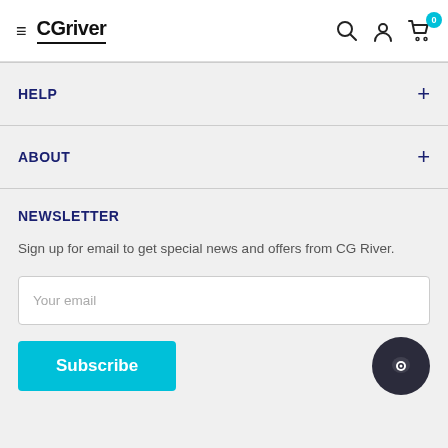CGriver navigation header with hamburger menu, logo, search, account, and cart icons
HELP
ABOUT
NEWSLETTER
Sign up for email to get special news and offers from CG River.
Your email
Subscribe